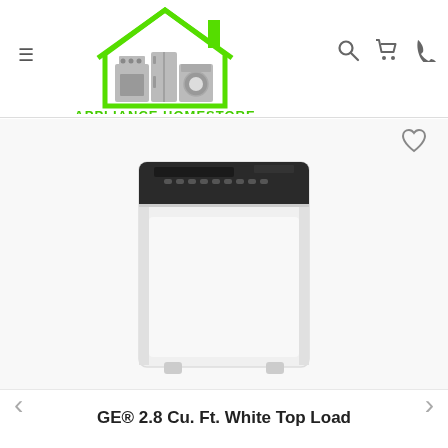[Figure (logo): Appliance Homestore logo with green house outline containing appliance icons, green text 'APPLIANCE HOMESTORE' and tagline 'Making Your Home Better']
[Figure (photo): GE white top load washing machine with black control panel lid, front-facing product photo on white background]
GE® 2.8 Cu. Ft. White Top Load